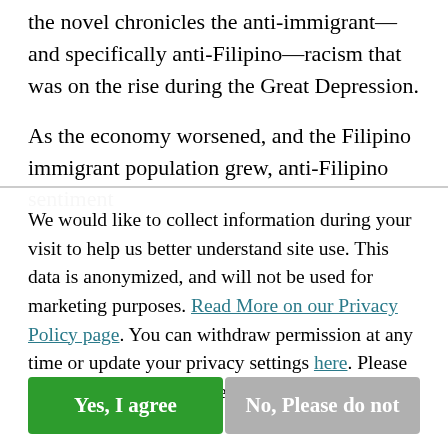the novel chronicles the anti-immigrant—and specifically anti-Filipino—racism that was on the rise during the Great Depression.

As the economy worsened, and the Filipino immigrant population grew, anti-Filipino sentiment
We would like to collect information during your visit to help us better understand site use. This data is anonymized, and will not be used for marketing purposes. Read More on our Privacy Policy page. You can withdraw permission at any time or update your privacy settings here. Please choose below to continue.
Yes, I agree
No, Please do not